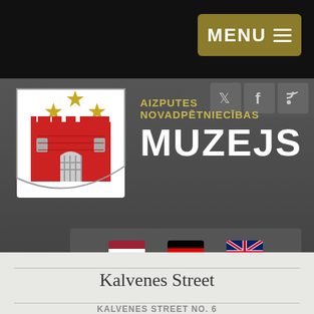[Figure (screenshot): Website header for Aizputes Novadpētniecības Muzejs museum. Shows a dark grey header with a coat of arms logo (red castle with gold stars on white shield), museum name text in gold and white, a yellow/gold MENU button with hamburger lines in top right, social media icons on the right, language selection flags (Latvian, German, UK/English) in a bar below header, and bottom section with light grey stone texture showing 'Kalvenes Street' text.]